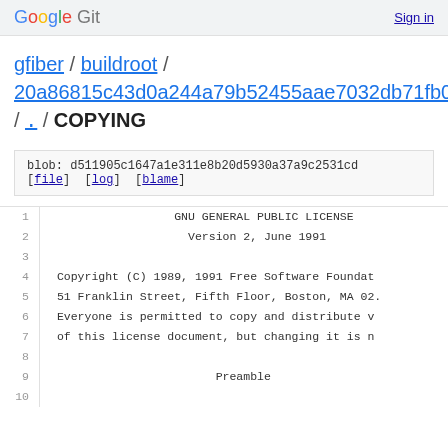Google Git   Sign in
gfiber / buildroot / 20a86815c43d0a244a79b52455aae7032db71fb0 / . / COPYING
blob: d511905c1647a1e311e8b20d5930a37a9c2531cd
[file]  [log]  [blame]
1    GNU GENERAL PUBLIC LICENSE
2    Version 2, June 1991
3
4    Copyright (C) 1989, 1991 Free Software Foundat...
5    51 Franklin Street, Fifth Floor, Boston, MA 02...
6    Everyone is permitted to copy and distribute v...
7    of this license document, but changing it is n...
8
9    Preamble
10